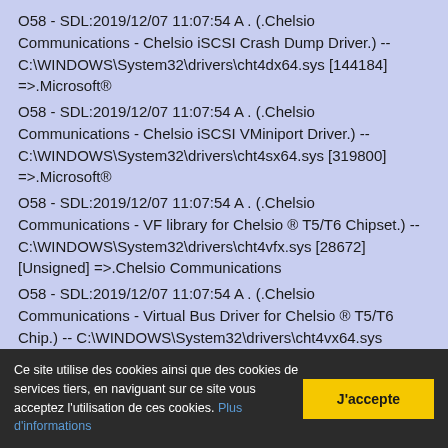O58 - SDL:2019/12/07 11:07:54 A . (.Chelsio Communications - Chelsio iSCSI Crash Dump Driver.) -- C:\WINDOWS\System32\drivers\cht4dx64.sys [144184] =>.Microsoft®
O58 - SDL:2019/12/07 11:07:54 A . (.Chelsio Communications - Chelsio iSCSI VMiniport Driver.) -- C:\WINDOWS\System32\drivers\cht4sx64.sys [319800] =>.Microsoft®
O58 - SDL:2019/12/07 11:07:54 A . (.Chelsio Communications - VF library for Chelsio ® T5/T6 Chipset.) -- C:\WINDOWS\System32\drivers\cht4vfx.sys [28672] [Unsigned] =>.Chelsio Communications
O58 - SDL:2019/12/07 11:07:54 A . (.Chelsio Communications - Virtual Bus Driver for Chelsio ® T5/T6 Chip.) -- C:\WINDOWS\System32\drivers\cht4vx64.sys [1853752] =>.Microsoft®
O58 - SDL:2021/07/07 10:49:31 A . (...) -- C:\WINDOWS\System32\drivers\cimfs.sys [97792] [Unsigned] =>.Microsoft Corporation
Ce site utilise des cookies ainsi que des cookies de services tiers, en naviguant sur ce site vous acceptez l'utilisation de ces cookies. Plus d'informations
J'accepte